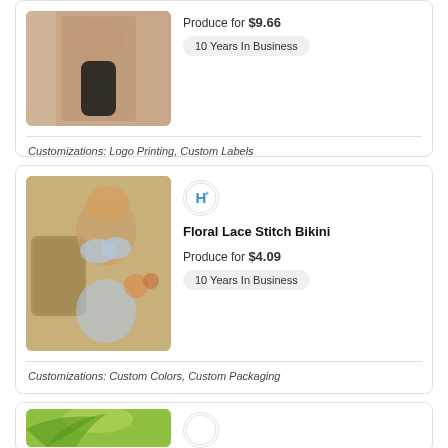[Figure (photo): Product photo: model wearing black bikini bottom, cropped view]
Produce for $9.66
10 Years In Business
Customizations: Logo Printing, Custom Labels
[Figure (logo): Vendor logo with letter H in blue circle]
[Figure (photo): Product photo: model wearing Floral Lace Stitch Bikini seated outdoors]
Floral Lace Stitch Bikini
Produce for $4.09
10 Years In Business
Customizations: Custom Colors, Custom Packaging
[Figure (logo): Vendor logo small circle]
[Figure (photo): Product photo: model wearing green tropical print outfit]